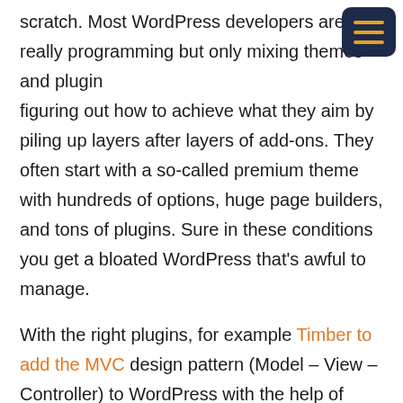scratch. Most WordPress developers aren't really programming but only mixing themes and plugins, figuring out how to achieve what they aim by piling up layers after layers of add-ons. They often start with a so-called premium theme with hundreds of options, huge page builders, and tons of plugins. Sure in these conditions you get a bloated WordPress that's awful to manage.
With the right plugins, for example Timber to add the MVC design pattern (Model – View – Controller) to WordPress with the help of Twig templates, and a good understanding of custom posts and custom fields (why not use ACF and CPT UI), WordPress can do everything you would expect from a CMS.